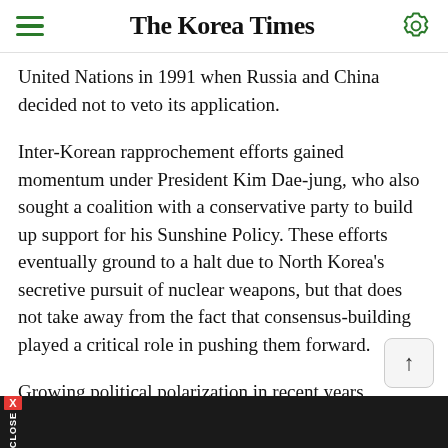The Korea Times
United Nations in 1991 when Russia and China decided not to veto its application.
Inter-Korean rapprochement efforts gained momentum under President Kim Dae-jung, who also sought a coalition with a conservative party to build up support for his Sunshine Policy. These efforts eventually ground to a halt due to North Korea's secretive pursuit of nuclear weapons, but that does not take away from the fact that consensus-building played a critical role in pushing them forward.
Growing political polarization in recent years, however, has significantly eroded South Korean